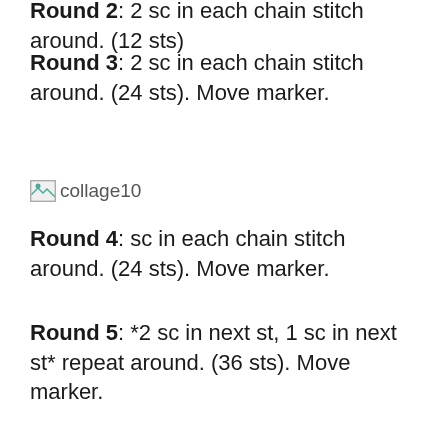Round 2: 2 sc in each chain stitch around. (12 sts)
Round 3: 2 sc in each chain stitch around. (24 sts). Move marker.
[Figure (photo): Broken image placeholder labeled 'collage10']
Round 4: sc in each chain stitch around. (24 sts). Move marker.
Round 5: *2 sc in next st, 1 sc in next st* repeat around. (36 sts). Move marker.
Round 6: sc in each chain stitch around. (36 sts). Move marker.
Round 7: *2 sc in next st, 1 sc in next st* repeat around. (54 sts). Move marker.